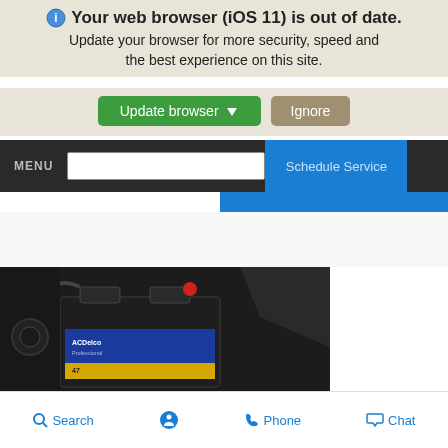Your web browser (iOS 11) is out of date. Update your browser for more security, speed and the best experience on this site.
[Figure (screenshot): Two buttons: green 'Update browser' button with arrow icon and tan/gray 'Ignore' button]
MENU | Schedule Service
[Figure (photo): Close-up photo of an ACDelco Professional car battery in an engine bay, black and white/dark tones with blue and yellow label visible on the battery]
Search | (accessibility icon) | Phone | Chat